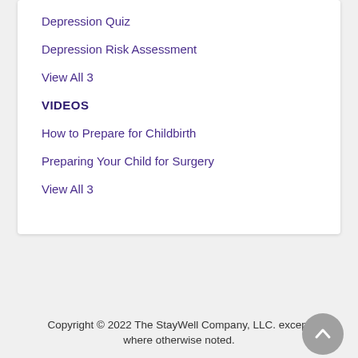Depression Quiz
Depression Risk Assessment
View All 3
VIDEOS
How to Prepare for Childbirth
Preparing Your Child for Surgery
View All 3
Copyright © 2022 The StayWell Company, LLC. except where otherwise noted.